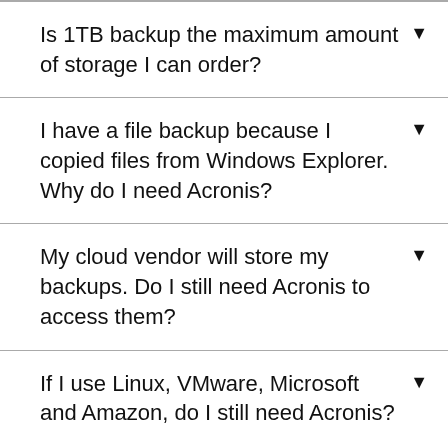Is 1TB backup the maximum amount of storage I can order?
I have a file backup because I copied files from Windows Explorer. Why do I need Acronis?
My cloud vendor will store my backups. Do I still need Acronis to access them?
If I use Linux, VMware, Microsoft and Amazon, do I still need Acronis?